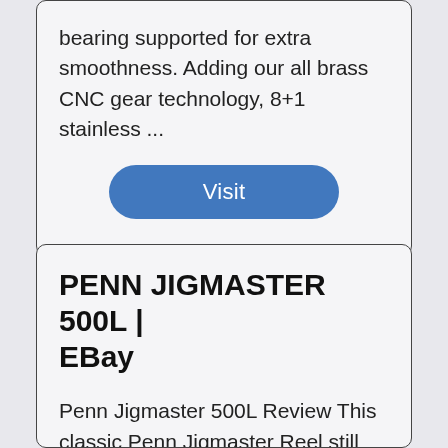bearing supported for extra smoothness. Adding our all brass CNC gear technology, 8+1 stainless ...
Visit
PENN JIGMASTER 500L | EBay
Penn Jigmaster 500L Review This classic Penn Jigmaster Reel still holds its own and is a superb choice for all-purpose 20-30 lb. class angling. Whether you're jigging iron for rockfish or live baiting for tuna, the Penn Jigmaster reel has already been there and